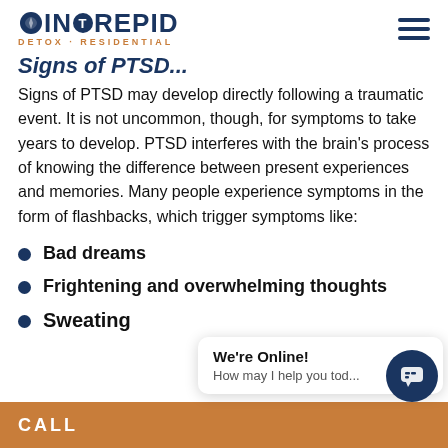INTREPID DETOX · RESIDENTIAL
Signs of PTSD...
Signs of PTSD may develop directly following a traumatic event. It is not uncommon, though, for symptoms to take years to develop. PTSD interferes with the brain's process of knowing the difference between present experiences and memories. Many people experience symptoms in the form of flashbacks, which trigger symptoms like:
Bad dreams
Frightening and overwhelming thoughts
Sweating
CALL